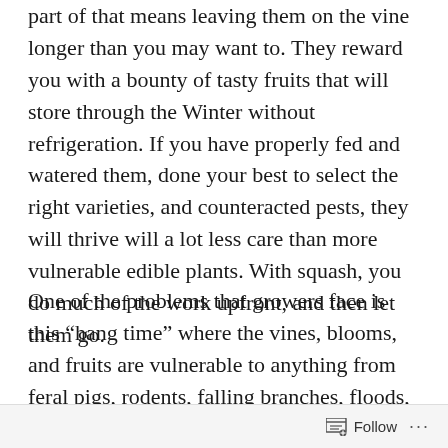part of that means leaving them on the vine longer than you may want to. They reward you with a bounty of tasty fruits that will store through the Winter without refrigeration. If you have properly fed and watered them, done your best to select the right varieties, and counteracted pests, they will thrive will a lot less care than more vulnerable edible plants. With squash, you do much of the work upfront, and then let them go.
One of the problems that growers face is this “hang time” where the vines, blooms, and fruits are vulnerable to anything from feral pigs, rodents, falling branches, floods, windstorms, theft, and insect damage. Throw in that some varieties can also get a sunburn that creates a scorched patch on the squash that will scar the fruits in such a way that
Follow ...